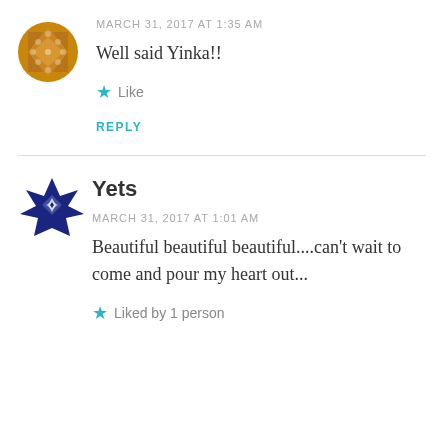[Figure (illustration): Avatar icon with golden/brown geometric pattern]
MARCH 31, 2017 AT 1:35 AM
Well said Yinka!!
★ Like
REPLY
[Figure (illustration): Avatar icon with dark blue geometric diamond pattern]
Yets
MARCH 31, 2017 AT 1:01 AM
Beautiful beautiful beautiful....can't wait to come and pour my heart out...
★ Liked by 1 person